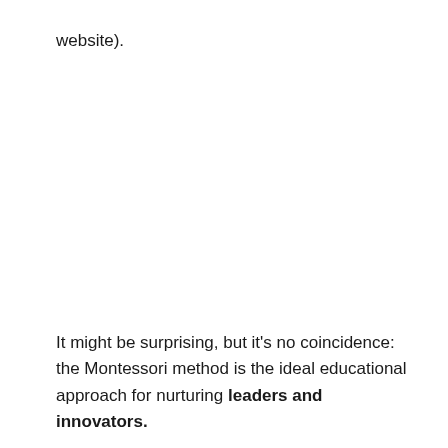website).
It might be surprising, but it's no coincidence: the Montessori method is the ideal educational approach for nurturing leaders and innovators.